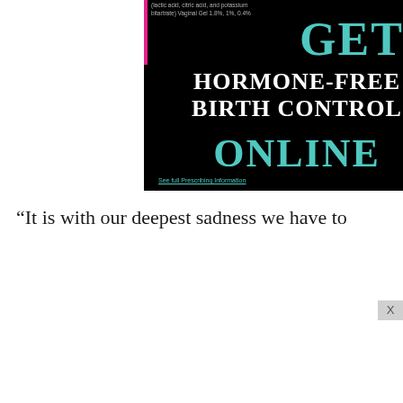[Figure (screenshot): Black background advertisement: 'GET HORMONE-FREE BIRTH CONTROL ONLINE' with small text '(lactic acid, citric acid, and potassium bitartrate) Vaginal Gel 1.8%, 1%, 0.4%' and a 'See full Prescribing Information' link in teal.]
“It is with our deepest sadness we have to
[Figure (screenshot): Dark advertisement for 'THE SERPENT QUEEN' TV show on STARZ. Text reads: 'CATHERINE DE MEDICI IS THE SERPENT QUEEN SUN SEP 11 STARZ GET THE APP'. Shows a woman in dark clothing on right side.]